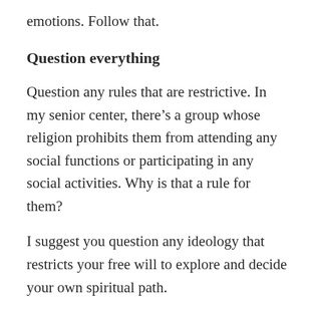emotions. Follow that.
Question everything
Question any rules that are restrictive. In my senior center, there’s a group whose religion prohibits them from attending any social functions or participating in any social activities. Why is that a rule for them?
I suggest you question any ideology that restricts your free will to explore and decide your own spiritual path.